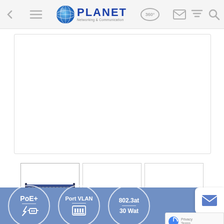[Figure (screenshot): PLANET Networking & Communication website header navigation bar with back arrow, hamburger menu, PLANET logo with globe icon, 360° badge, email icon, filter icon, and search icon]
[Figure (photo): Main product image area - white rectangle with light border, appears empty/white (product image not loaded)]
[Figure (screenshot): Thumbnail carousel with left/right orange arrows; first thumbnail shows a blue network switch (PLANET brand), second and third thumbnails are empty/white]
[Figure (infographic): Blue feature strip showing three circular icons: PoE+ with power/network icon, Port VLAN with ethernet port icon, 802.3at / 30W (partially cut off) with icon]